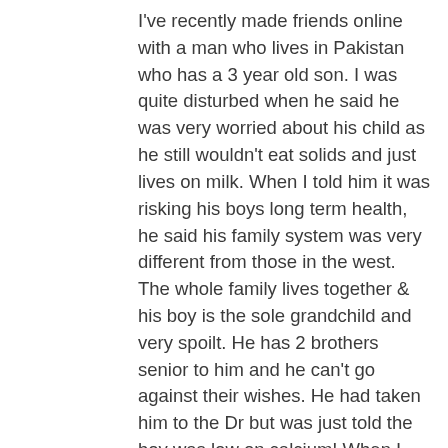I've recently made friends online with a man who lives in Pakistan who has a 3 year old son. I was quite disturbed when he said he was very worried about his child as he still wouldn't eat solids and just lives on milk. When I told him it was risking his boys long term health, he said his family system was very different from those in the west. The whole family lives together & his boy is the sole grandchild and very spoilt. He has 2 brothers senior to him and he can't go against their wishes. He had taken him to the Dr but was just told the boy was low on calcium! When I began speaking about the need for sunshine in the production of calcium, he clearly knew nothing about simple